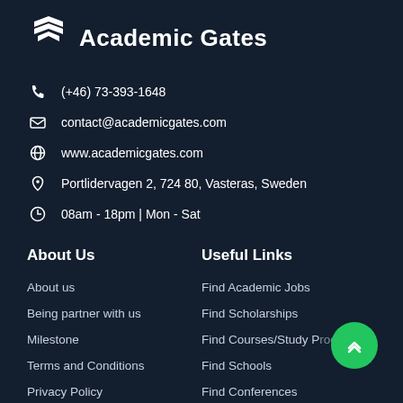Academic Gates
(+46) 73-393-1648
contact@academicgates.com
www.academicgates.com
Portlidervagen 2, 724 80, Vasteras, Sweden
08am - 18pm | Mon - Sat
About Us
Useful Links
About us
Find Academic Jobs
Being partner with us
Find Scholarships
Milestone
Find Courses/Study Programs
Terms and Conditions
Find Schools
Privacy Policy
Find Conferences